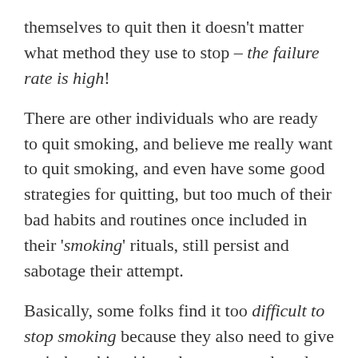themselves to quit then it doesn't matter what method they use to stop – the failure rate is high!
There are other individuals who are ready to quit smoking, and believe me really want to quit smoking, and even have some good strategies for quitting, but too much of their bad habits and routines once included in their 'smoking' rituals, still persist and sabotage their attempt.
Basically, some folks find it too difficult to stop smoking because they also need to give up 'other things' in order to succeed, and they're not just willing to make the sacrifice.